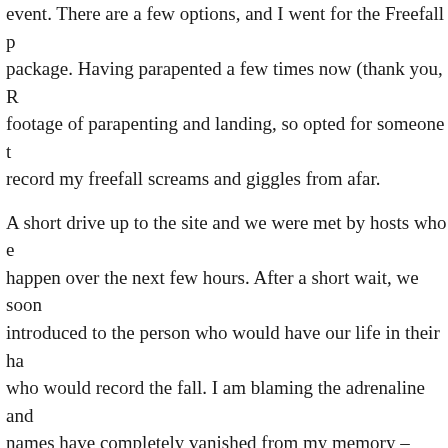event. There are a few options, and I went for the Freefall package. Having parapented a few times now (thank you, R footage of parapenting and landing, so opted for someone t record my freefall screams and giggles from afar.
A short drive up to the site and we were met by hosts who e happen over the next few hours. After a short wait, we soon introduced to the person who would have our life in their ha who would record the fall. I am blaming the adrenaline and names have completely vanished from my memory – sorry
Instructions were given for the technicalities of the fall befo the plane, like sardines, nice 'n' cosy, to climb up to 15,000 stunning. FYI – The Remarkables looks in great condition! I mother saying 'take deep breaths, keep breathing' and tried instructions and what I had to do.
“Put your helmet on.” Oh gawd.
“Put your goggles on.” Ah cr*ap. *nervous giggle*
“Okay?” As I'll ever be.
Suddenly my feet were outside the plane.
Banana shape. Banana shape. Feet back. Head back. Hips for